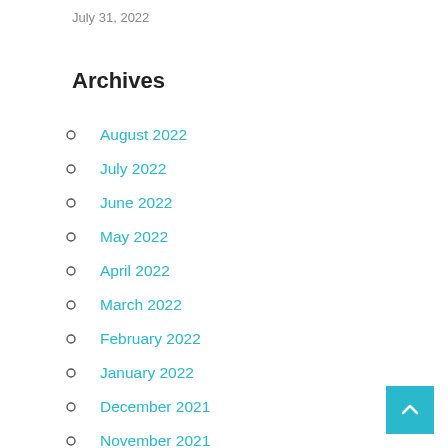July 31, 2022
Archives
August 2022
July 2022
June 2022
May 2022
April 2022
March 2022
February 2022
January 2022
December 2021
November 2021
October 2021
September 2021